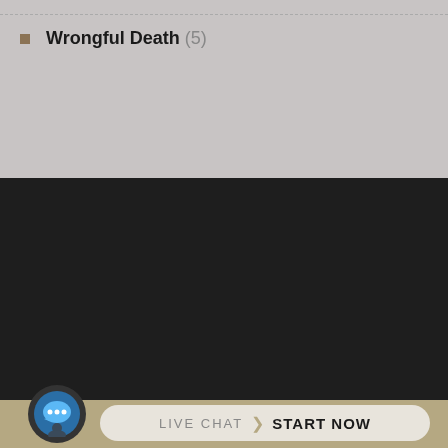Wrongful Death (5)
[Figure (screenshot): Law Offices of nicholasROSE, PLLC website footer showing firm name with '100%' overlay text, a dark background, map of Forest Hills area, and Live Chat Start Now button with chat icon]
100%
Law Offices of
nicholasROSE, PLLC
FOREST HILLS
LIVE CHAT  START NOW